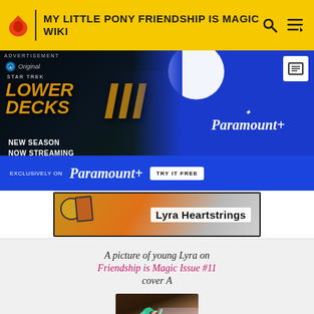MY LITTLE PONY FRIENDSHIP IS MAGIC WIKI
[Figure (screenshot): Advertisement for Star Trek Lower Decks Season 3 on Paramount+, showing animated characters and 'NEW SEASON NOW STREAMING' text with 'EXCLUSIVELY ON Paramount+ TRY IT FREE' banner]
[Figure (illustration): Comic book panel showing 'Lyra Heartstrings' name label on what appears to be a comic book cover with colorful illustrated elements]
A picture of young Lyra on Friendship is Magic Issue #11 cover A
[Figure (illustration): Image of young Lyra Heartstrings pony character, a mint-green pony with teal and white mane, looking upward with large golden eyes]